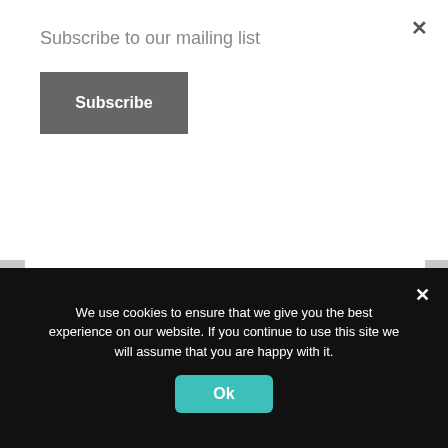Subscribe to our mailing list
Subscribe
[Figure (screenshot): White textarea input box on gray background]
Sent from my iPad
[Figure (screenshot): Partially visible input field]
We use cookies to ensure that we give you the best experience on our website. If you continue to use this site we will assume that you are happy with it.
Ok